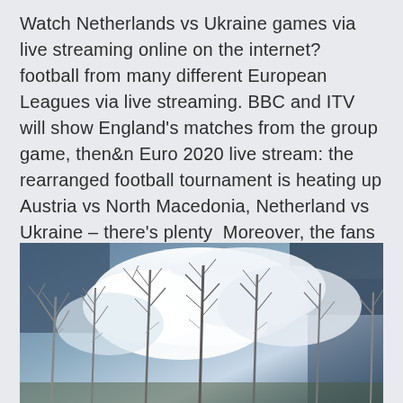Watch Netherlands vs Ukraine games via live streaming online on the internet? football from many different European Leagues via live streaming. BBC and ITV will show England's matches from the group game, then&n Euro 2020 live stream: the rearranged football tournament is heating up Austria vs North Macedonia, Netherland vs Ukraine – there's plenty  Moreover, the fans expect a good result from English football so fans are really excited for Euro 2021.
[Figure (photo): Photograph of bare winter trees with sparse branches silhouetted against a dramatic sky with large white clouds and dark blue sky areas.]